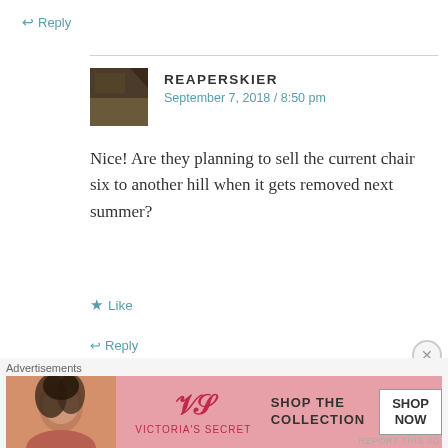↩ Reply
REAPERSKIER
September 7, 2018 / 8:50 pm
Nice! Are they planning to sell the current chair six to another hill when it gets removed next summer?
★ Like
↩ Reply
PETER LANDSMAN
September 7, 2018 / 10:01 pm
[Figure (screenshot): Victoria's Secret advertisement banner with model, VS logo, 'SHOP THE COLLECTION' text and 'SHOP NOW' button]